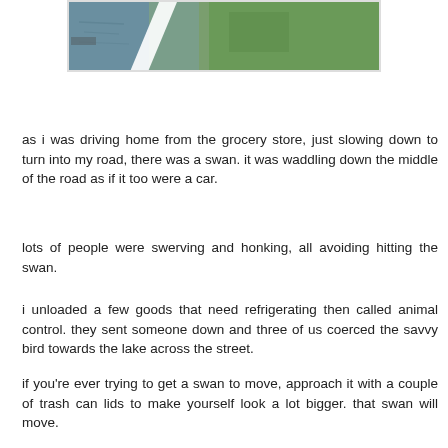[Figure (photo): Partial photo showing a road with a white lane marking and green grass, apparently showing a swan on or near the road (top portion of image visible)]
as i was driving home from the grocery store, just slowing down to turn into my road, there was a swan. it was waddling down the middle of the road as if it too were a car.
lots of people were swerving and honking, all avoiding hitting the swan.
i unloaded a few goods that need refrigerating then called animal control. they sent someone down and three of us coerced the savvy bird towards the lake across the street.
if you're ever trying to get a swan to move, approach it with a couple of trash can lids to make yourself look a lot bigger. that swan will move.